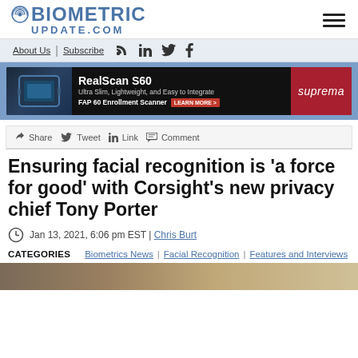BIOMETRIC UPDATE.COM
About Us | Subscribe
[Figure (other): Suprema RealScan S60 advertisement banner: Ultra Slim, Lightweight, and Easy to Integrate. FAP 60 Enrollment Scanner. LEARN MORE button. Suprema brand logo.]
Share  Tweet  Link  Comment
Ensuring facial recognition is 'a force for good' with Corsight's new privacy chief Tony Porter
Jan 13, 2021, 6:06 pm EST | Chris Burt
CATEGORIES   Biometrics News | Facial Recognition | Features and Interviews
[Figure (photo): Bottom image strip, partially visible photo at page bottom]